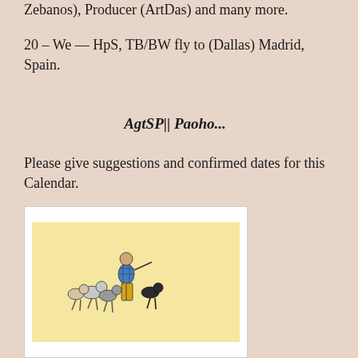Zebanos), Producer (ArtDas) and many more.
20 - We -- HpS, TB/BW fly to (Dallas) Madrid, Spain.
AgtSP|| Paoho...
Please give suggestions and confirmed dates for this Calendar.
[Figure (illustration): Illustration on a light yellow background showing a person in blue checkered top and yellow pants leading several dogs or cats walking upright in a line, reminiscent of a vintage children's book illustration.]